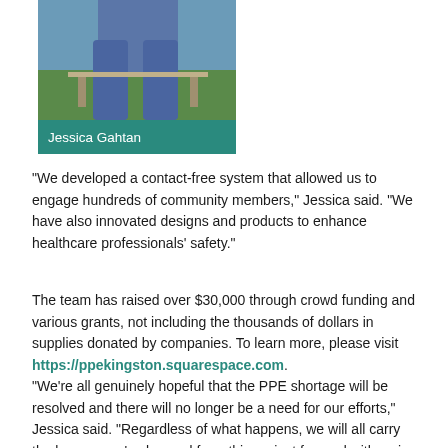[Figure (photo): Photo of Jessica Gahtan outdoors, partial view of person sitting in jeans on a bench with grass in background]
Jessica Gahtan
“We developed a contact-free system that allowed us to engage hundreds of community members,” Jessica said. “We have also innovated designs and products to enhance healthcare professionals’ safety.”
The team has raised over $30,000 through crowd funding and various grants, not including the thousands of dollars in supplies donated by companies. To learn more, please visit https://ppekingston.squarespace.com.
“We’re all genuinely hopeful that the PPE shortage will be resolved and there will no longer be a need for our efforts,” Jessica said. “Regardless of what happens, we will all carry the lessons we’ve learned from this project forward with us in our careers. It has been an incredibly rewarding